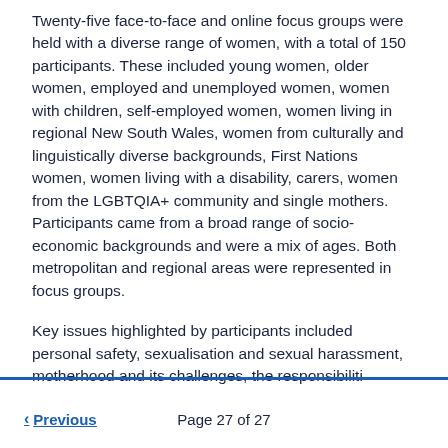Twenty-five face-to-face and online focus groups were held with a diverse range of women, with a total of 150 participants. These included young women, older women, employed and unemployed women, women with children, self-employed women, women living in regional New South Wales, women from culturally and linguistically diverse backgrounds, First Nations women, women living with a disability, carers, women from the LGBTQIA+ community and single mothers. Participants came from a broad range of socio-economic backgrounds and were a mix of ages. Both metropolitan and regional areas were represented in focus groups.
Key issues highlighted by participants included personal safety, sexualisation and sexual harassment, motherhood and its challenges, the responsibiliti...
< Previous   Page 27 of 27